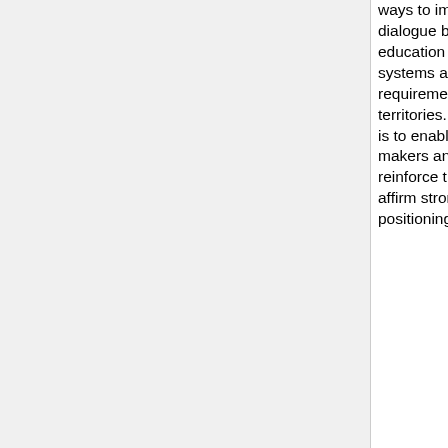ways to improve the dialogue between education and training systems and skills requirements in the territories. The challenge is to enable VET decision-makers and other actors to reinforce their posture and affirm strong territorial positioning
for the decision makers. Action learning and research methods will be used by partners to identify and enhance fairly quickly their strategy with the territorial, European and global challenges.
a coordination or animation team. Awareness of the European framework and global challenges should facilitate action by expanding the strategy. In the eyes of the partners, this step is the prerequisite for vocational training systems in line with skills needs in the regions, able